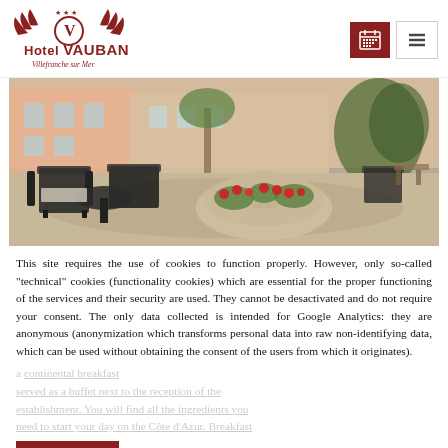Hotel VAUBAN — Villefranche sur Mer
[Figure (photo): Outdoor courtyard of Hotel Vauban with black rattan furniture, gravel ground, a round stone planter with red flowers, and Mediterranean garden with palm trees and a pink building in the background.]
This site requires the use of cookies to function properly. However, only so-called "technical" cookies (functionality cookies) which are essential for the proper functioning of the services and their security are used. They cannot be desactivated and do not require your consent. The only data collected is intended for Google Analytics: they are anonymous (anonymization which transforms personal data into raw non-identifying data, which can be used without obtaining the consent of the users from which it originates).
a continental breakfast served as a buffet next to the reception of the establishment. You will find all the ingredients you need to start your day on the Côte d'Azur. Breakfast
I GET IT